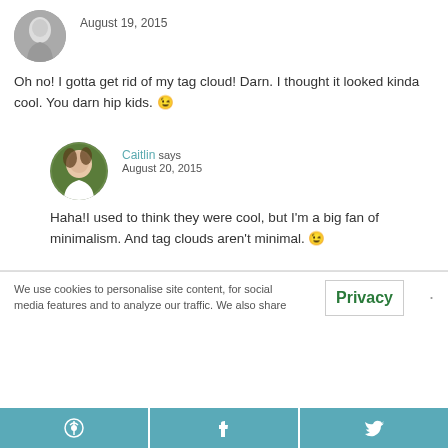[Figure (photo): Circular avatar photo of a woman in black and white]
August 19, 2015
Oh no! I gotta get rid of my tag cloud! Darn. I thought it looked kinda cool. You darn hip kids. 😉
[Figure (photo): Circular avatar photo of Caitlin, a woman with brown hair against green foliage background]
Caitlin says
August 20, 2015
Haha!I used to think they were cool, but I'm a big fan of minimalism. And tag clouds aren't minimal. 😉
We use cookies to personalise site content, for social media features and to analyze our traffic. We also share
Privacy
[Figure (other): Pinterest share button (teal)]
[Figure (other): Facebook share button (teal)]
[Figure (other): Twitter share button (teal)]